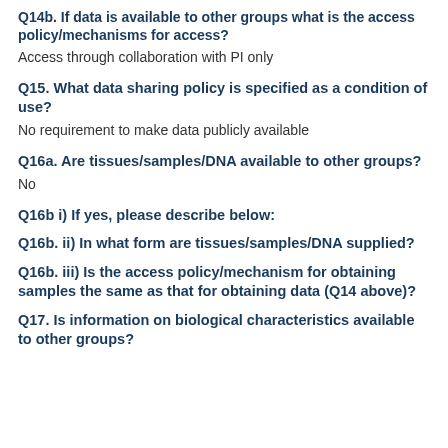Q14b. If data is available to other groups what is the access policy/mechanisms for access?
Access through collaboration with PI only
Q15. What data sharing policy is specified as a condition of use?
No requirement to make data publicly available
Q16a. Are tissues/samples/DNA available to other groups?
No
Q16b i) If yes, please describe below:
Q16b. ii) In what form are tissues/samples/DNA supplied?
Q16b. iii) Is the access policy/mechanism for obtaining samples the same as that for obtaining data (Q14 above)?
Q17. Is information on biological characteristics available to other groups?